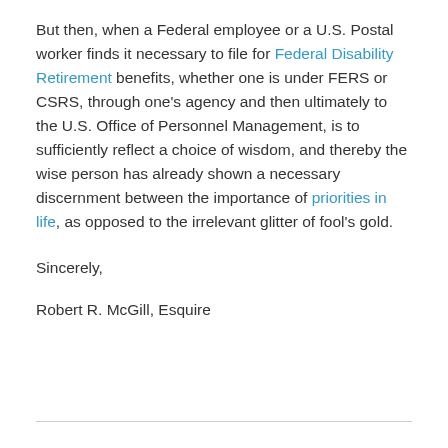But then, when a Federal employee or a U.S. Postal worker finds it necessary to file for Federal Disability Retirement benefits, whether one is under FERS or CSRS, through one's agency and then ultimately to the U.S. Office of Personnel Management, is to sufficiently reflect a choice of wisdom, and thereby the wise person has already shown a necessary discernment between the importance of priorities in life, as opposed to the irrelevant glitter of fool's gold.
Sincerely,
Robert R. McGill, Esquire